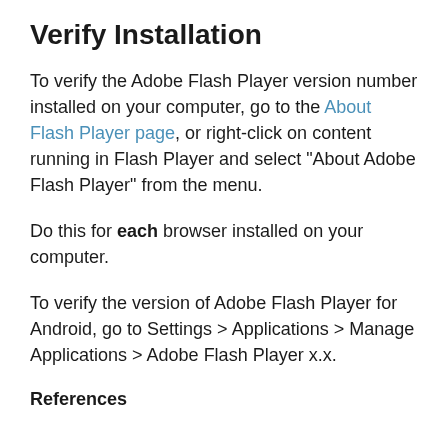Verify Installation
To verify the Adobe Flash Player version number installed on your computer, go to the About Flash Player page, or right-click on content running in Flash Player and select "About Adobe Flash Player" from the menu.
Do this for each browser installed on your computer.
To verify the version of Adobe Flash Player for Android, go to Settings > Applications > Manage Applications > Adobe Flash Player x.x.
References